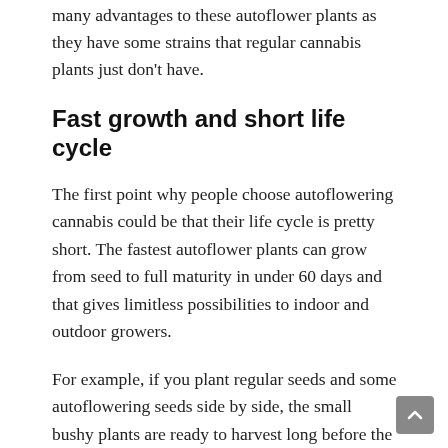many advantages to these autoflower plants as they have some strains that regular cannabis plants just don't have.
Fast growth and short life cycle
The first point why people choose autoflowering cannabis could be that their life cycle is pretty short. The fastest autoflower plants can grow from seed to full maturity in under 60 days and that gives limitless possibilities to indoor and outdoor growers.
For example, if you plant regular seeds and some autoflowering seeds side by side, the small bushy plants are ready to harvest long before the regular strains start to produce flowers. It also makes the autoflowers less likely to be damaged by critters, bugs, diseases and even inexperienced growers and harsh weather conditions.
The short turnaround of autoflowering cannabis plants indoors, can be properly exploited to have some continuous harvest